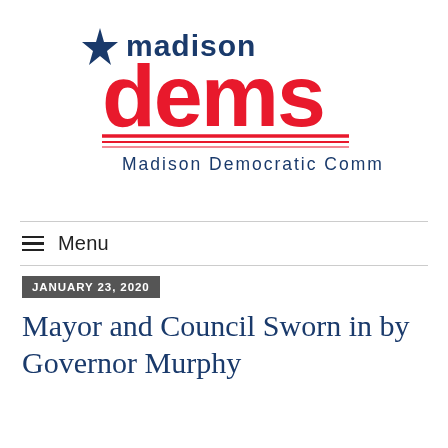[Figure (logo): Madison Dems – Madison Democratic Committee logo with a blue star, red text 'dems' in large letters, 'madison' in blue above, red horizontal lines below, and 'Madison Democratic Committee' in blue text underneath]
≡  Menu
JANUARY 23, 2020
Mayor and Council Sworn in by Governor Murphy